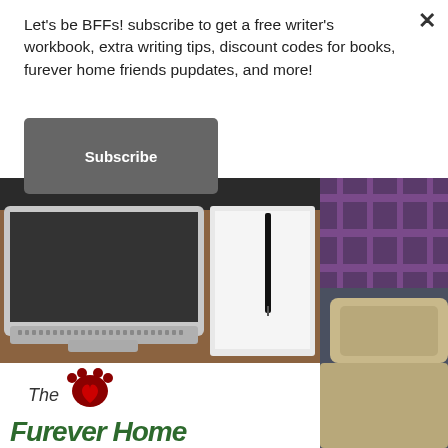Let's be BFFs! subscribe to get a free writer's workbook, extra writing tips, discount codes for books, furever home friends pupdates, and more!
[Figure (screenshot): Website popup with subscribe button, showing a laptop and notebook photo below, and a Furever Home logo partial view at bottom left]